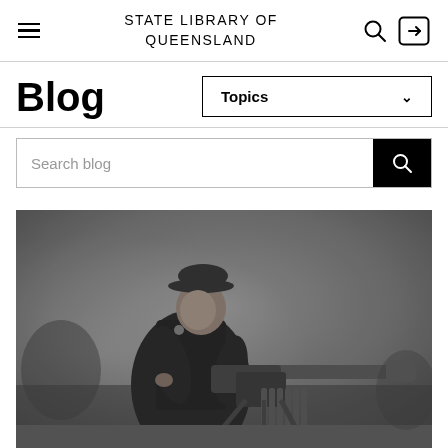STATE LIBRARY OF QUEENSLAND
Blog
Topics
Search blog
[Figure (photo): Black and white photograph of a World War I era soldier in uniform and peaked cap, seated beside a heavy machine gun on a tripod mount, posed in a studio setting with a painted backdrop.]